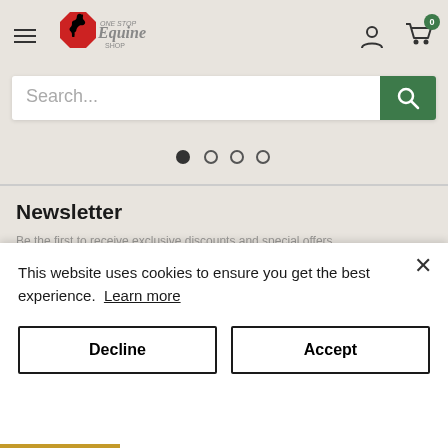[Figure (logo): One Stop Equine Shop logo with rearing black horse on red octagon background]
Search...
[Figure (infographic): Carousel navigation dots, four dots with first one filled/active]
Newsletter
This website uses cookies to ensure you get the best experience. Learn more
Decline
Accept